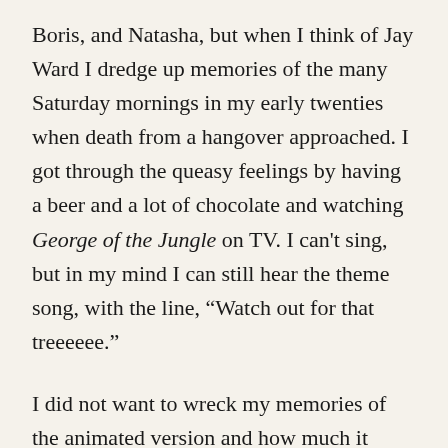Boris, and Natasha, but when I think of Jay Ward I dredge up memories of the many Saturday mornings in my early twenties when death from a hangover approached. I got through the queasy feelings by having a beer and a lot of chocolate and watching George of the Jungle on TV. I can't sing, but in my mind I can still hear the theme song, with the line, “Watch out for that treeeeee.”
I did not want to wreck my memories of the animated version and how much it helped me on those Saturday mornings, so I did not see the live movie of “George of the Jungle” in the theater, but eventually I saw it on TV, and to my surprise, liked it. I was a fan of actor Brendan F...